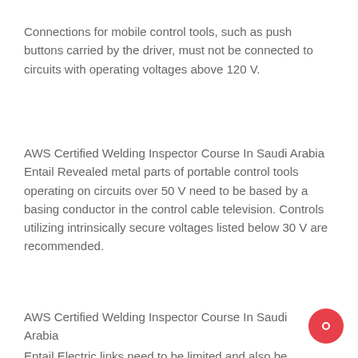Connections for mobile control tools, such as push buttons carried by the driver, must not be connected to circuits with operating voltages above 120 V.
AWS Certified Welding Inspector Course In Saudi Arabia Entail Revealed metal parts of portable control tools operating on circuits over 50 V need to be based by a basing conductor in the control cable television. Controls utilizing intrinsically secure voltages listed below 30 V are recommended.
AWS Certified Welding Inspector Course In Saudi Arabia Entail Electric links need to be limited and also be